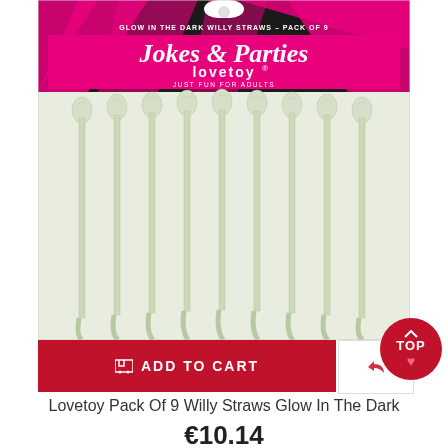[Figure (photo): Product photo of Lovetoy Jokes & Parties Glow In The Dark Willy Straws Pack of 9. Shows packaging with pink and black zebra print design with brand name and 9 glow-in-the-dark novelty straws displayed inside clear packaging.]
ADD TO CART
Lovetoy Pack Of 9 Willy Straws Glow In The Dark
€10.14